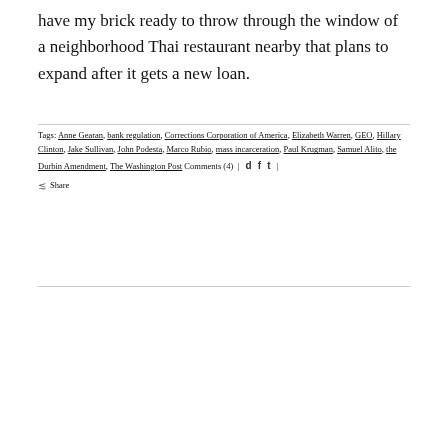have my brick ready to throw through the window of a neighborhood Thai restaurant nearby that plans to expand after it gets a new loan.
Tags: Anne Gearan, bank regulation, Corrections Corporation of America, Elizabeth Warren, GEO, Hillary Clinton, Jake Sullivan, John Podesta, Marco Rubio, mass incarceration, Paul Krugman, Samuel Alito, the Durbin Amendment, The Washington Post Comments (4) | d f t | Share